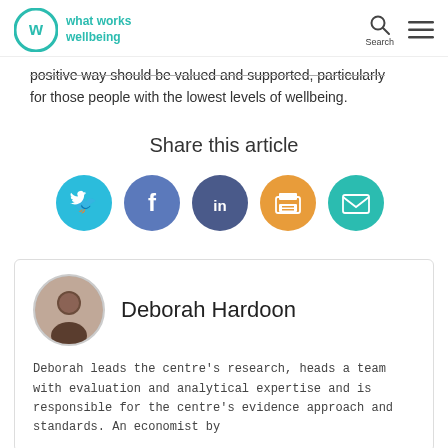what works wellbeing | Search
positive way should be valued and supported, particularly for those people with the lowest levels of wellbeing.
Share this article
[Figure (infographic): Five social share buttons: Twitter (light blue), Facebook (medium blue), LinkedIn (dark blue/purple), Print (orange), Email (teal)]
Deborah Hardoon
Deborah leads the centre's research, heads a team with evaluation and analytical expertise and is responsible for the centre's evidence approach and standards. An economist by